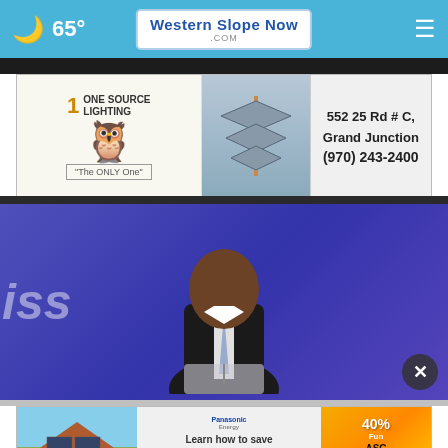🌙 65° — WesternSlopeNow.com — ☰
[Figure (photo): One Source Lighting advertisement banner. Left side shows owl logo and 'ONE SOURCE LIGHTING - The ONLY One' text. Right side shows antenna graphic with address: 552 25 Rd # C, Grand Junction, (970) 243-2400]
[Figure (photo): Video screenshot of a man in a dark suit speaking at a podium on a purple/blue conference stage. Partial text 'iss' visible on left side.]
[Figure (photo): Advertisement for Atlasta Solar Center / Panasonic solar panels. Shows a house with solar panels, text: 'Learn how to save on your energy bill', 'CLICK HERE', '40% Fun', 'ASC Atlasta Solar Center']